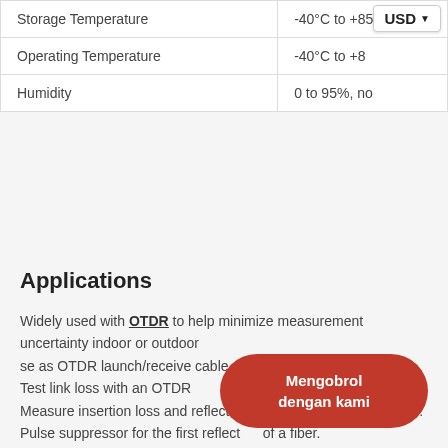| Parameter | Value |
| --- | --- |
| Storage Temperature | -40°C to +85°C |
| Operating Temperature | -40°C to +8... |
| Humidity | 0 to 95%, no... |
Applications
Widely used with OTDR to help minimize measurement uncertainty indoor or outdoor
se as OTDR launch/receive cable
Test link loss with an OTDR
Measure insertion loss and reflectance of near/far end connector.
Pulse suppressor for the first reflection of a fiber.
[Figure (other): Red rounded chat button with text 'Mengobrol dengan kami']